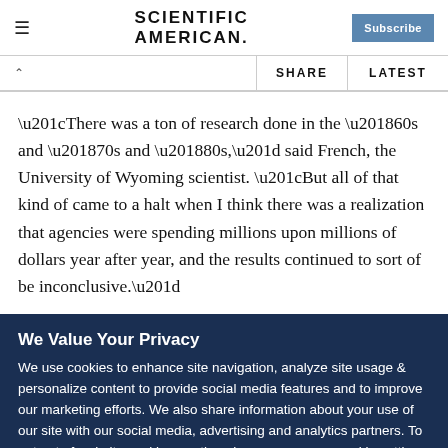SCIENTIFIC AMERICAN
“There was a ton of research done in the ’60s and ’70s and ’80s,” said French, the University of Wyoming scientist. “But all of that kind of came to a halt when I think there was a realization that agencies were spending millions upon millions of dollars year after year, and the results continued to sort of be inconclusive.”
We Value Your Privacy
We use cookies to enhance site navigation, analyze site usage & personalize content to provide social media features and to improve our marketing efforts. We also share information about your use of our site with our social media, advertising and analytics partners. To opt out of website cookies or otherwise manage your cookie settings, click on Cookie Settings. View O